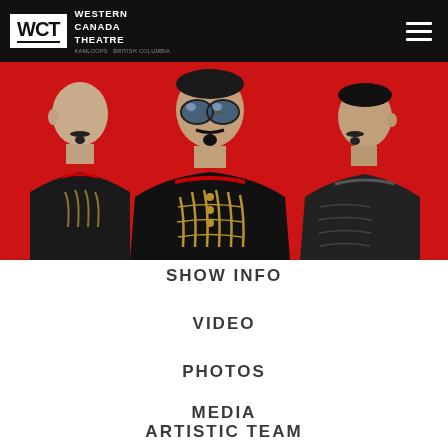WCT WESTERN CANADA THEATRE
[Figure (photo): Three men in military/theatrical costumes against a red background. The central figure wears sunglasses and an ornate black and gold military jacket. Two other figures flank him, facing sideways.]
SHOW INFO
VIDEO
PHOTOS
MEDIA
ARTISTIC TEAM